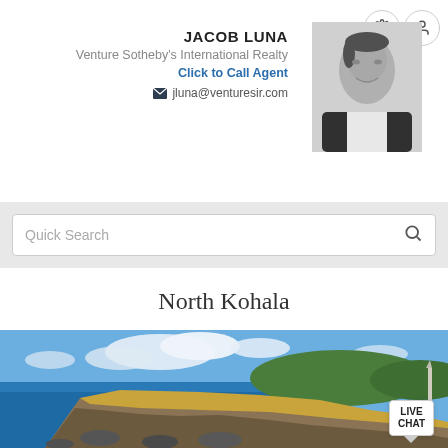JACOB LUNA
Venture Sotheby's International Realty
Click to Call Agent
jluna@venturesir.com
[Figure (photo): Black and white headshot photo of Jacob Luna, a man smiling in a suit]
Quick Search
North Kohala
[Figure (photo): Coastal landscape photo of North Kohala, Hawaii, showing rocky coastline with blue ocean, dry golden grass, green trees, and partly cloudy sky]
LIVE CHAT